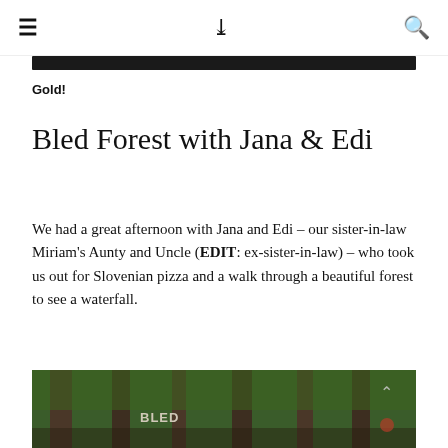≡  ∨∨  🔍
Gold!
Bled Forest with Jana & Edi
We had a great afternoon with Jana and Edi – our sister-in-law Miriam's Aunty and Uncle (EDIT: ex-sister-in-law) – who took us out for Slovenian pizza and a walk through a beautiful forest to see a waterfall.
[Figure (photo): Photo of a forest path with tree trunks, green foliage, and a sign reading 'BLED' painted on a tree trunk]